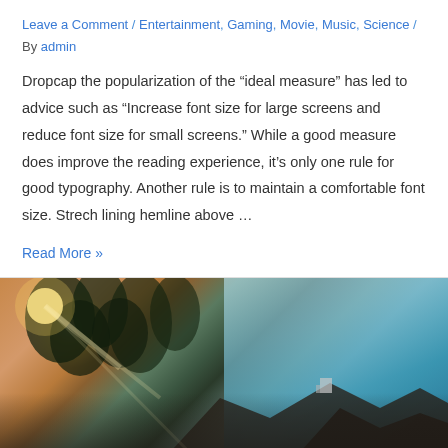Leave a Comment / Entertainment, Gaming, Movie, Music, Science / By admin
Dropcap the popularization of the “ideal measure” has led to advice such as “Increase font size for large screens and reduce font size for small screens.” While a good measure does improve the reading experience, it’s only one rule for good typography. Another rule is to maintain a comfortable font size. Strech lining hemline above …
Read More »
[Figure (photo): Coastal landscape photo showing rocky cliffs with trees silhouetted against a bright sun on the left, and a teal ocean with rocky outcroppings on the right. Sunlight is flaring through the trees creating a warm golden glow.]